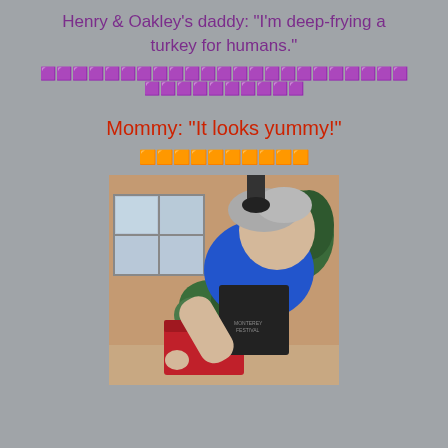Henry & Oakley's daddy: "I'm deep-frying a turkey for humans."
🟪🟪🟪🟪🟪🟪🟪🟪🟪🟪🟪🟪🟪🟪🟪🟪🟪🟪🟪🟪🟪🟪🟪🟪🟪🟪🟪🟪🟪🟪🟪🟪🟪
Mommy: "It looks yummy!"
🟧🟧🟧🟧🟧🟧🟧🟧🟧🟧
[Figure (photo): An older man with gray hair wearing a blue shirt and black apron labeled 'Monterey Festival' bending over outdoors near a red chair, with a house window and green shrubs in the background.]